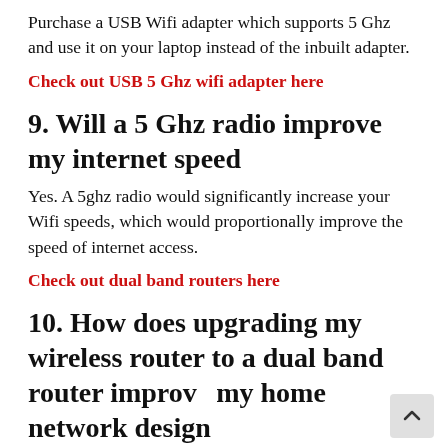Purchase a USB Wifi adapter which supports 5 Ghz and use it on your laptop instead of the inbuilt adapter.
Check out USB 5 Ghz wifi adapter here
9. Will a 5 Ghz radio improve my internet speed
Yes. A 5ghz radio would significantly increase your Wifi speeds, which would proportionally improve the speed of internet access.
Check out dual band routers here
10. How does upgrading my wireless router to a dual band router improve my home network design